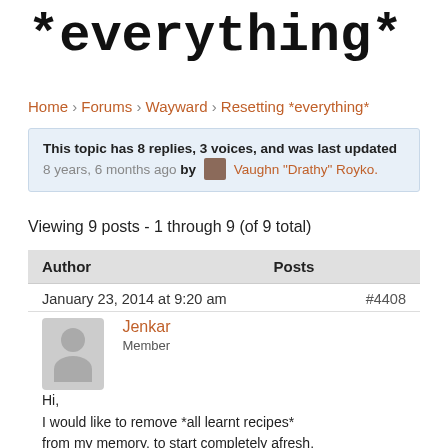*everything*
Home › Forums › Wayward › Resetting *everything*
This topic has 8 replies, 3 voices, and was last updated 8 years, 6 months ago by Vaughn "Drathy" Royko.
Viewing 9 posts - 1 through 9 (of 9 total)
| Author | Posts |
| --- | --- |
| January 23, 2014 at 9:20 am | #4408 |
| Jenkar Member |  |
Hi,
I would like to remove *all learnt recipes*
from my memory, to start completely afresh.